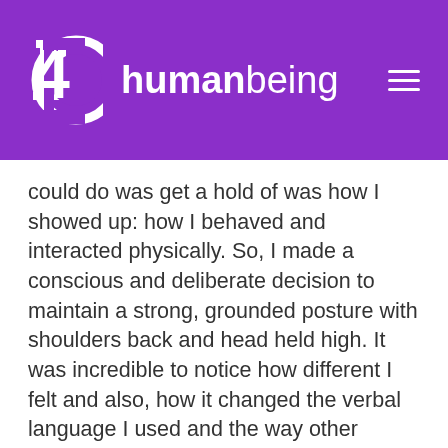[Figure (logo): 4D humanbeing logo on purple background with hamburger menu icon. Logo consists of a white '4D' symbol and the text 'humanbeing' in white with 'human' in bold and 'being' in light weight.]
could do was get a hold of was how I showed up: how I behaved and interacted physically. So, I made a conscious and deliberate decision to maintain a strong, grounded posture with shoulders back and head held high. It was incredible to notice how different I felt and also, how it changed the verbal language I used and the way other people responded to me. It was a game-changer.